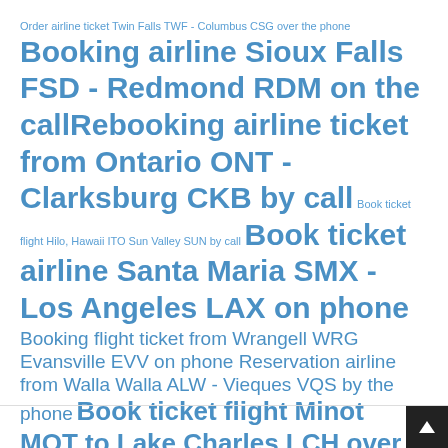Order airline ticket Twin Falls TWF - Columbus CSG over the phone Booking airline Sioux Falls FSD - Redmond RDM on the call Rebooking airline ticket from Ontario ONT - Clarksburg CKB by call Book ticket flight Hilo, Hawaii ITO Sun Valley SUN by call Book ticket airline Santa Maria SMX - Los Angeles LAX on phone Booking flight ticket from Wrangell WRG Evansville EVV on phone Reservation airline from Walla Walla ALW - Vieques VQS by the phone Book ticket flight Minot MOT to Lake Charles LCH over call Changing flight Lawton LAW to Denver DEN over call